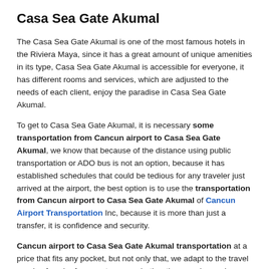Casa Sea Gate Akumal
The Casa Sea Gate Akumal is one of the most famous hotels in the Riviera Maya, since it has a great amount of unique amenities in its type, Casa Sea Gate Akumal is accessible for everyone, it has different rooms and services, which are adjusted to the needs of each client, enjoy the paradise in Casa Sea Gate Akumal.
To get to Casa Sea Gate Akumal, it is necessary some transportation from Cancun airport to Casa Sea Gate Akumal, we know that because of the distance using public transportation or ADO bus is not an option, because it has established schedules that could be tedious for any traveler just arrived at the airport, the best option is to use the transportation from Cancun airport to Casa Sea Gate Akumal of Cancun Airport Transportation Inc, because it is more than just a transfer, it is confidence and security.
Cancun airport to Casa Sea Gate Akumal transportation at a price that fits any pocket, but not only that, we adapt to the travel needs of each of our customers, whether they need more luxury and amenities during their transfer, or move a larger group of people at our event in Casa Sea Gate Akumal, we offer the best